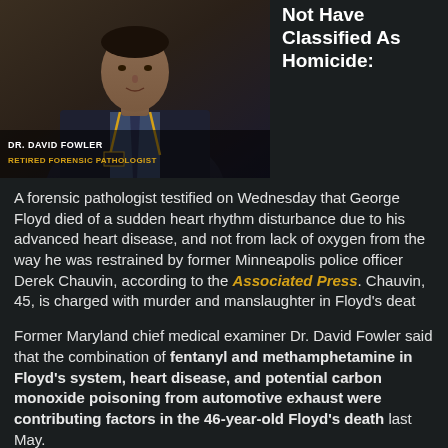[Figure (photo): Dr. David Fowler, a man in a dark suit with a blue shirt and tie, wearing a yellow lanyard, labeled as Retired Forensic Pathologist]
DR. DAVID FOWLER
RETIRED FORENSIC PATHOLOGIST
Not Have Classified As Homicide:
A forensic pathologist testified on Wednesday that George Floyd died of a sudden heart rhythm disturbance due to his advanced heart disease, and not from lack of oxygen from the way he was restrained by former Minneapolis police officer Derek Chauvin, according to the Associated Press. Chauvin, 45, is charged with murder and manslaughter in Floyd's deat
Former Maryland chief medical examiner Dr. David Fowler said that the combination of fentanyl and methamphetamine in Floyd's system, heart disease, and potential carbon monoxide poisoning from automotive exhaust were contributing factors in the 46-year-old Floyd's death last May.